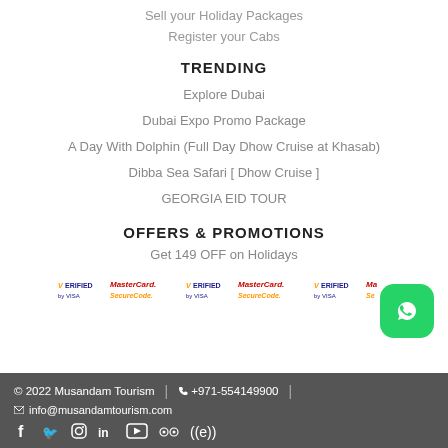Sell your Holiday Packages
Register your Cabs
TRENDING
Explore Dubai
Dubai Expo Promo Package
A Day With Dolphin (Full Day Dhow Cruise at Khasab)
Dibba Sea Safari [ Dhow Cruise ]
GEORGIA EID TOUR
OFFERS & PROMOTIONS
Get 149 OFF on Holidays
[Figure (logo): Payment badges: Verified by Visa and MasterCard SecureCode logos repeated three times]
© 2022 Musandam Tourism | +971-554149900 | info@musandamtourism.com | Social icons: Facebook, Twitter, Instagram, LinkedIn, YouTube, TripAdvisor, Accessibility